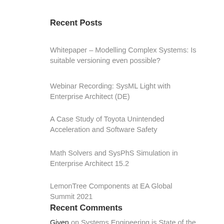Recent Posts
Whitepaper – Modelling Complex Systems: Is suitable versioning even possible?
Webinar Recording: SysML Light with Enterprise Architect (DE)
A Case Study of Toyota Unintended Acceleration and Software Safety
Math Solvers and SysPhS Simulation in Enterprise Architect 15.2
LemonTree Components at EA Global Summit 2021
Recent Comments
Given on Systems Engineering is State of the Art for ADAS – see UNECE recommandation